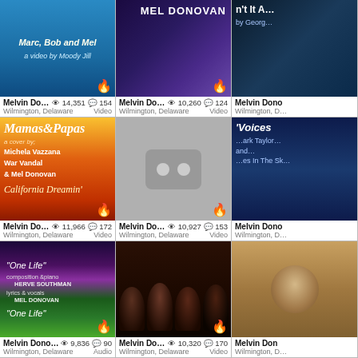[Figure (screenshot): Grid of music video thumbnails with metadata showing Melvin Donovan/Mel Donovan music content from Wilmington, Delaware. Three rows of three columns (right column partially visible). Each thumbnail shows album art or video cover with fire emoji, view count, and comment count.]
Melvin Dono... 👁 14,351 💬 154
Wilmington, Delaware    Video
Melvin Dono... 👁 10,260 💬 124
Wilmington, Delaware    Video
Melvin Dono...  Wilmington, D...
Melvin Dono... 👁 11,966 💬 172
Wilmington, Delaware    Video
Melvin Dono... 👁 10,927 💬 153
Wilmington, Delaware    Video
Melvin Dono  Wilmington, D...
Melvin Donova... 👁 9,836 💬 90
Wilmington, Delaware    Audio
Melvin Dono... 👁 10,320 💬 170
Wilmington, Delaware    Video
Melvin Don  Wilmington, D...